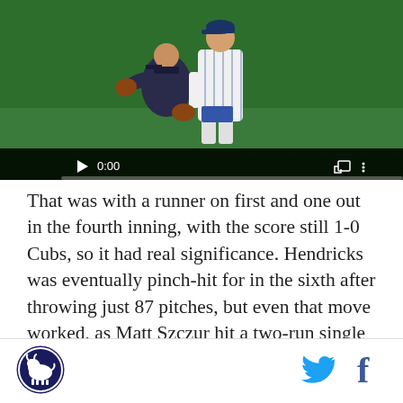[Figure (screenshot): Video player showing two baseball players (Cubs uniforms, pinstripes) in a field. Black background with video controls showing play button, 0:00 timestamp, progress bar, fullscreen and more options buttons.]
That was with a runner on first and one out in the fourth inning, with the score still 1-0 Cubs, so it had real significance. Hendricks was eventually pinch-hit for in the sixth after throwing just 87 pitches, but even that move worked, as Matt Szczur hit a two-run single to cap the Cubs' five-run inning that put the game away. Other key hits in that inning: a double by Anthony Rizzo after a leadoff single by Kris Bryant. A walk then loaded the bases, Addison Russell drove in two runs, then another one scored on a terrible throw
[Figure (logo): Circular logo with dark blue background, white bison/buffalo silhouette in center]
[Figure (other): Twitter bird icon in light blue]
[Figure (other): Facebook 'f' icon in dark blue]